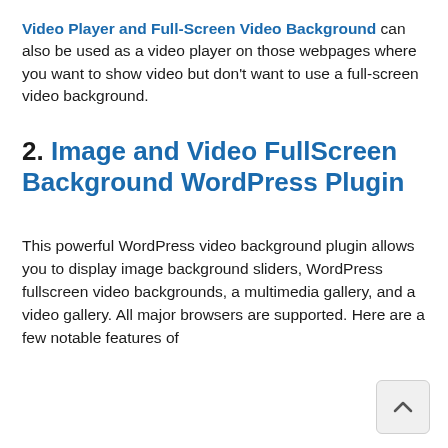Video Player and Full-Screen Video Background can also be used as a video player on those webpages where you want to show video but don't want to use a full-screen video background.
2. Image and Video FullScreen Background WordPress Plugin
This powerful WordPress video background plugin allows you to display image background sliders, WordPress fullscreen video backgrounds, a multimedia gallery, and a video gallery. All major browsers are supported. Here are a few notable features of